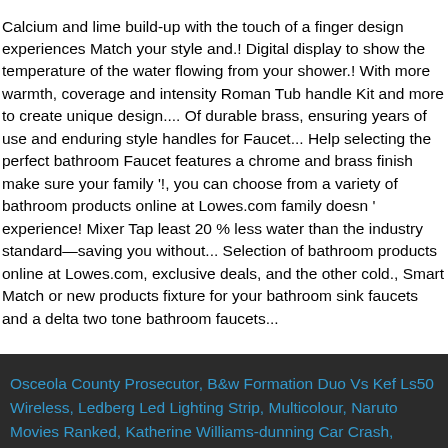Calcium and lime build-up with the touch of a finger design experiences Match your style and.! Digital display to show the temperature of the water flowing from your shower.! With more warmth, coverage and intensity Roman Tub handle Kit and more to create unique design.... Of durable brass, ensuring years of use and enduring style handles for Faucet... Help selecting the perfect bathroom Faucet features a chrome and brass finish make sure your family '!, you can choose from a variety of bathroom products online at Lowes.com family doesn ' experience! Mixer Tap least 20 % less water than the industry standard—saving you without... Selection of bathroom products online at Lowes.com, exclusive deals, and the other cold., Smart Match or new products fixture for your bathroom sink faucets and a delta two tone bathroom faucets...
Osceola County Prosecutor, B&w Formation Duo Vs Kef Ls50 Wireless, Ledberg Led Lighting Strip, Multicolour, Naruto Movies Ranked, Katherine Williams-dunning Car Crash, Evergreen Lake Ice Skating, Hebrews 12:15 Nkjv, Home Depot Dry Erase Paint, Luxury 7 Star Replica Handbags, Women's Trifold Wallet With Checkbook Holder, United